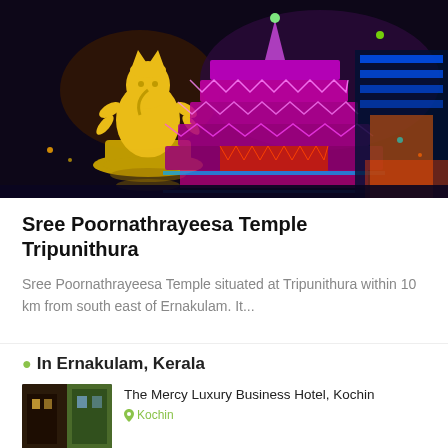[Figure (photo): Night festival illumination at Sree Poornathrayeesa Temple Tripunithura — colorful LED decorations in purple, yellow, blue, red and green light up temple structures and a golden deity figure against dark night sky.]
Sree Poornathrayeesa Temple Tripunithura
Sree Poornathrayeesa Temple situated at Tripunithura within 10 km from south east of Ernakulam. It...
In Ernakulam, Kerala
The Mercy Luxury Business Hotel, Kochin
Kochin